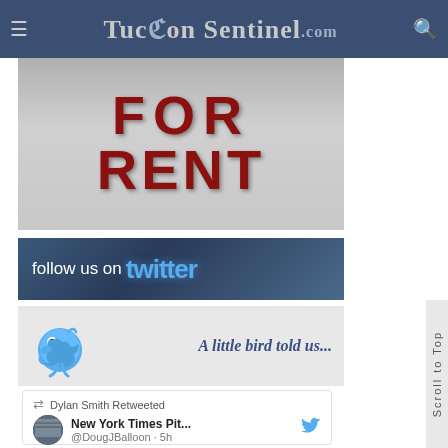TucsonSentinel.com
[Figure (photo): A sign with large red letters reading 'FOR RENT' on a gray background, photographed up close]
[Figure (infographic): Banner image reading 'follow us on twitter' with stylized Twitter logo text in blue on a dark blue textured background]
[Figure (illustration): Blue Twitter bird mascot alongside text 'A little bird told us...' on a gray background]
Dylan Smith Retweeted
New York Times Pit... @DougJBalloon · 5h